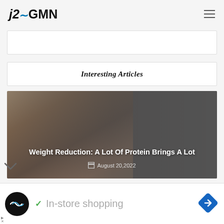j2GMN
[Figure (other): White advertisement placeholder banner]
Interesting Articles
[Figure (photo): Article card image with dark overlay showing protein foods, with title 'Weight Reduction: A Lot Of Protein Brings A Lot' and date August 20,2022]
Weight Reduction: A Lot Of Protein Brings A Lot
August 20,2022
[Figure (infographic): Bottom advertisement banner with circular logo, checkmark, 'In-store shopping' text, and blue diamond arrow icon]